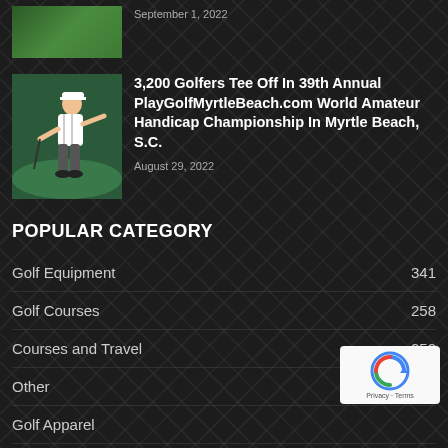[Figure (photo): Partial golf course thumbnail at top (green fairway)]
September 1, 2022
[Figure (photo): Golfer celebrating on golf course]
3,200 Golfers Tee Off In 39th Annual PlayGolfMyrtleBeach.com World Amateur Handicap Championship In Myrtle Beach, S.C.
August 29, 2022
POPULAR CATEGORY
Golf Equipment   341
Golf Courses   258
Courses and Travel   252
Other   249
Golf Apparel
Golf Accessories
Irons   114